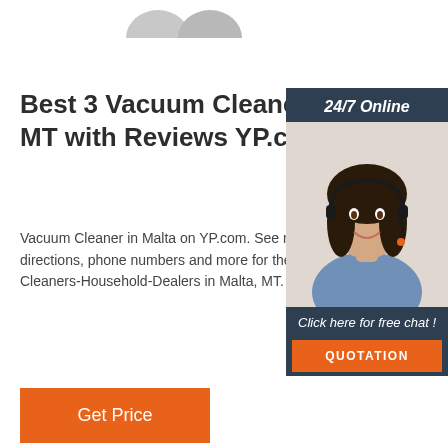[Figure (photo): Partial image of objects visible at top of page]
Best 3 Vacuum Cleaner Malta, MT with Reviews YP.com
[Figure (photo): Customer service representative woman wearing headset, with 24/7 Online banner and Click here for free chat! text and QUOTATION button in dark blue panel]
Vacuum Cleaner in Malta on YP.com. See reviews, photos, directions, phone numbers and more for the best Vacuum Cleaners-Household-Dealers in Malta, MT.
Get Price